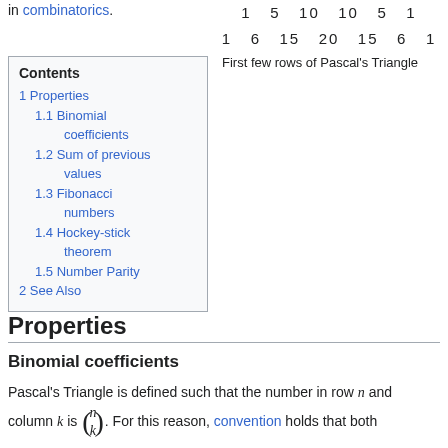in combinatorics.
[Figure (other): First few rows of Pascal's Triangle showing numbers: row with 1 5 10 10 5 1 and row with 1 6 15 20 15 6 1]
First few rows of Pascal's Triangle
Contents
1 Properties
1.1 Binomial coefficients
1.2 Sum of previous values
1.3 Fibonacci numbers
1.4 Hockey-stick theorem
1.5 Number Parity
2 See Also
Properties
Binomial coefficients
Pascal's Triangle is defined such that the number in row n and column k is (n choose k). For this reason, convention holds that both